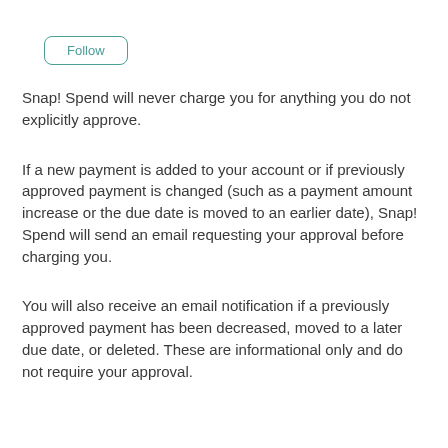[Figure (other): A rounded rectangle button labeled 'Follow' with teal border and teal text]
Snap! Spend will never charge you for anything you do not explicitly approve.
If a new payment is added to your account or if previously approved payment is changed (such as a payment amount increase or the due date is moved to an earlier date), Snap! Spend will send an email requesting your approval before charging you.
You will also receive an email notification if a previously approved payment has been decreased, moved to a later due date, or deleted. These are informational only and do not require your approval.